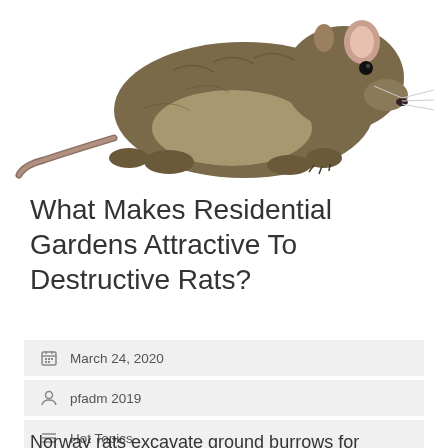[Figure (photo): A Norway rat (brown rat) photographed against a white background, viewed from the side, showing brown-grey fur, visible ears, and clawed feet.]
What Makes Residential Gardens Attractive To Destructive Rats?
March 24, 2020
pfadm 2019
Hot Topics
Norway rats excavate ground burrows for